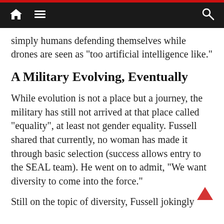[Navigation bar with home, menu, and search icons]
simply humans defending themselves while drones are seen as “too artificial intelligence like.”
A Military Evolving, Eventually
While evolution is not a place but a journey, the military has still not arrived at that place called “equality”, at least not gender equality. Fussell shared that currently, no woman has made it through basic selection (success allows entry to the SEAL team). He went on to admit, “We want diversity to come into the force.”
Still on the topic of diversity, Fussell jokingly